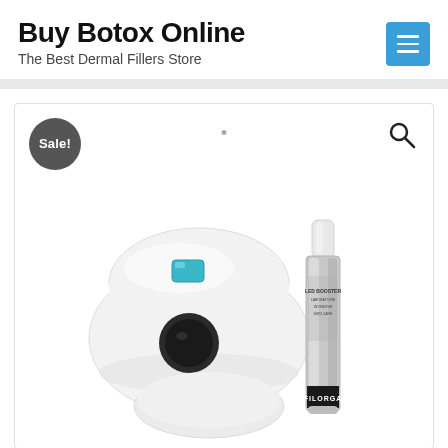Buy Botox Online
The Best Dermal Fillers Store
[Figure (photo): White handheld LED beauty device alongside a silver tube of Filorga LED Booster product on a white background, with a 'Sale!' badge in the top-left corner and a search icon in the top-right corner.]